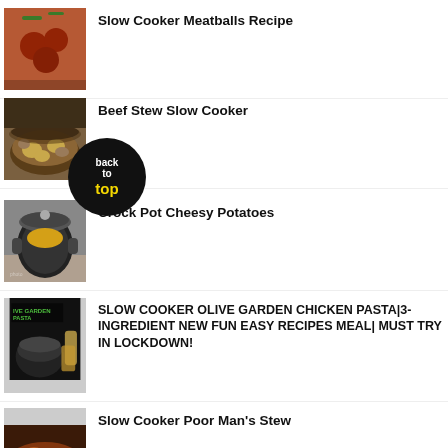Slow Cooker Meatballs Recipe
Beef Stew Slow Cooker
Crock Pot Cheesy Potatoes
SLOW COOKER OLIVE GARDEN CHICKEN PASTA|3-INGREDIENT NEW FUN EASY RECIPES MEAL| MUST TRY IN LOCKDOWN!
Slow Cooker Poor Man's Stew
[Figure (infographic): Back to top button overlaid on recipe list thumbnails]